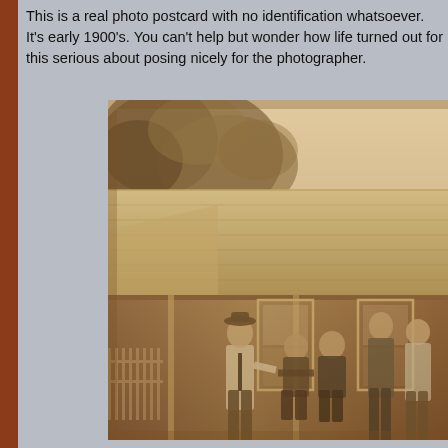This is a real photo postcard with no identification whatsoever. It's early 1900's. You can't help but wonder how life turned out for this serious about posing nicely for the photographer.
[Figure (photo): Sepia-toned real photo postcard from the early 1900s showing a group of people (men) posing in front of a wooden building with a covered porch. A large tree is visible in the upper left. A white picket fence is visible on the far left. The image has the warm brown tones characteristic of early photographic processes.]